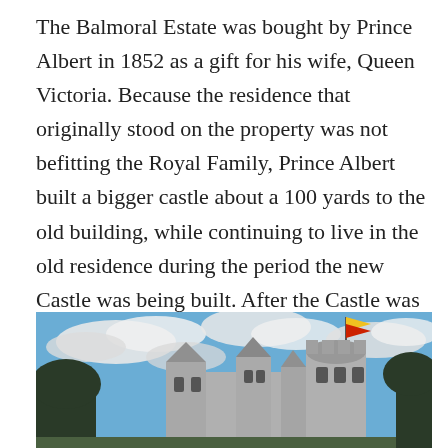The Balmoral Estate was bought by Prince Albert in 1852 as a gift for his wife, Queen Victoria. Because the residence that originally stood on the property was not befitting the Royal Family, Prince Albert built a bigger castle about a 100 yards to the old building, while continuing to live in the old residence during the period the new Castle was being built. After the Castle was completed in 1856, the old building was demolished. In memory of the demolished structure, a stone was placed on the exact spot where the front door stood.
[Figure (photo): Photograph of Balmoral Castle showing castle towers against a partly cloudy blue sky, with a yellow and red flag flying from one of the towers and trees visible on the right side.]